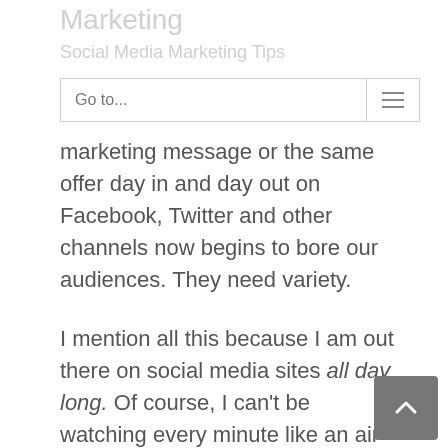Marketing
Social Media Marketing Tips
Go to...
marketing message or the same offer day in and day out on Facebook, Twitter and other channels now begins to bore our audiences. They need variety.
I mention all this because I am out there on social media sites all day long. Of course, I can't be watching every minute like an air traffic controller. I'd go insane. Nor do I expect that the consumer is watching every moment. But they sure are exposed to far more